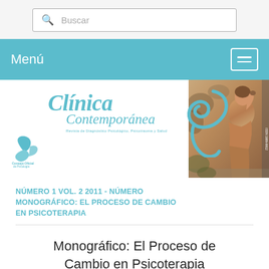Buscar
Menú
[Figure (logo): Clínica Contemporánea journal logo with teal swirl graphic and small Consejo Official de Psicología de Madrid leaf logo; classical painting of woman in top right corner]
NÚMERO 1 VOL. 2 2011 - NÚMERO MONOGRÁFICO: EL PROCESO DE CAMBIO EN PSICOTERAPIA
Monográfico: El Proceso de Cambio en Psicoterapia